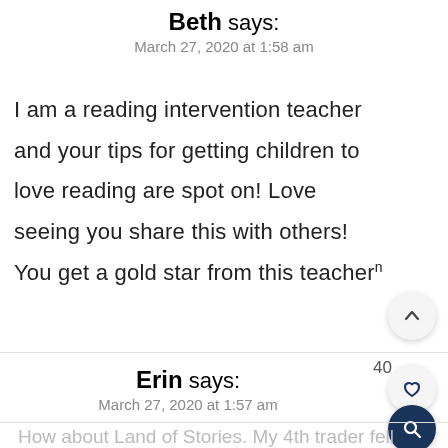Beth says: March 27, 2020 at 1:58 am
I am a reading intervention teacher and your tips for getting children to love reading are spot on! Love seeing you share this with others! You get a gold star from this teacher🎓
40
Erin says: March 27, 2020 at 1:57 am
How about Land of Stories. My 4th trader fell